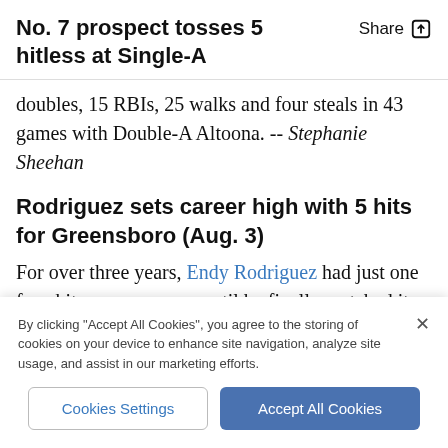No. 7 prospect tosses 5 hitless at Single-A
doubles, 15 RBIs, 25 walks and four steals in 43 games with Double-A Altoona. -- Stephanie Sheehan
Rodriguez sets career high with 5 hits for Greensboro (Aug. 3)
For over three years, Endy Rodriguez had just one four-hit game as a pro, until he finally matched it on July 24. Then, 10 days later, Rodriguez not only tied
By clicking "Accept All Cookies", you agree to the storing of cookies on your device to enhance site navigation, analyze site usage, and assist in our marketing efforts.
Cookies Settings
Accept All Cookies